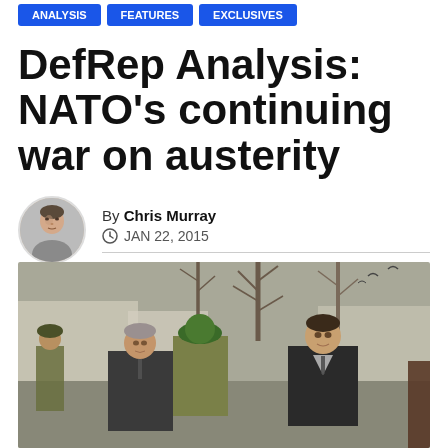Navigation buttons (blue)
DefRep Analysis: NATO's continuing war on austerity
By Chris Murray
JAN 22, 2015
[Figure (photo): Outdoor scene showing NATO officials including Anders Fogh Rasmussen and Jens Stoltenberg in discussion with military personnel wearing green berets, with bare winter trees in the background.]